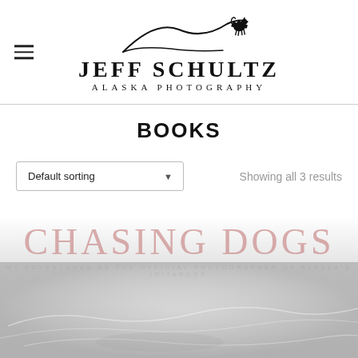[Figure (logo): Jeff Schultz Alaska Photography logo with mountain silhouette and howling wolf, above text JEFF SCHULTZ ALASKA PHOTOGRAPHY]
BOOKS
Default sorting
Showing all 3 results
[Figure (photo): Book cover for 'Chasing Dogs: My Adventures as the Official Photographer of Alaska's Iditarod' showing faded pink/rose title text over a grey snowy background with sled dog imagery]